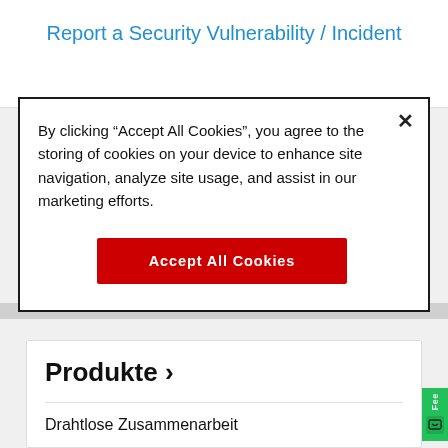Report a Security Vulnerability / Incident
By clicking “Accept All Cookies”, you agree to the storing of cookies on your device to enhance site navigation, analyze site usage, and assist in our marketing efforts.
Accept All Cookies
Produkte ›
Drahtlose Zusammenarbeit